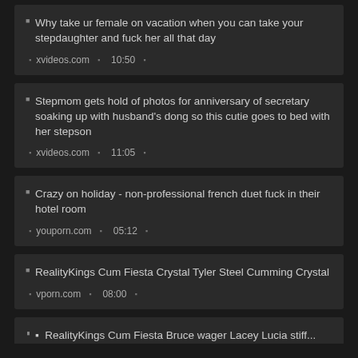Why take ur female on vacation when you can take your stepdaughter and fuck her all that day
xvideos.com  10:50
Stepmom gets hold of photos for anniversary of secretary soaking up with husband's dong so this cutie goes to bed with her stepson
xvideos.com  11:05
Crazy on holiday - non-professional french duet fuck in their hotel room
youporn.com  05:12
RealityKings Cum Fiesta Crystal Tyler Steel Cumming Crystal
vporn.com  08:00
RealityKings Cum Fiesta Bruce wager Lacey Lucia stiff...